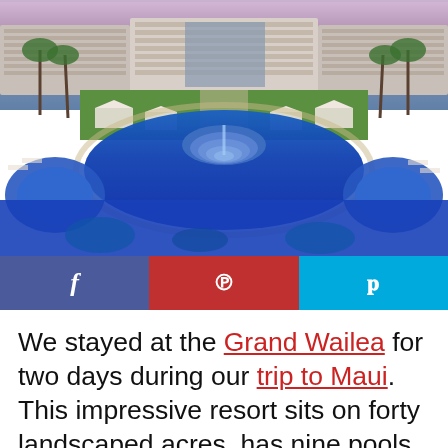[Figure (photo): Aerial view of the Grand Wailea resort in Maui, Hawaii, showing a large luxury hotel building, manicured gardens, a multi-tiered fountain, and expansive blue swimming pools with hot tubs and cabanas surrounded by palm trees.]
[Figure (infographic): Social media share bar with three buttons: Facebook (f) in dark blue, Pinterest (P) in red, and Twitter (bird icon) in light blue.]
We stayed at the Grand Wailea for two days during our trip to Maui. This impressive resort sits on forty landscaped acres, has nine pools and is just steps